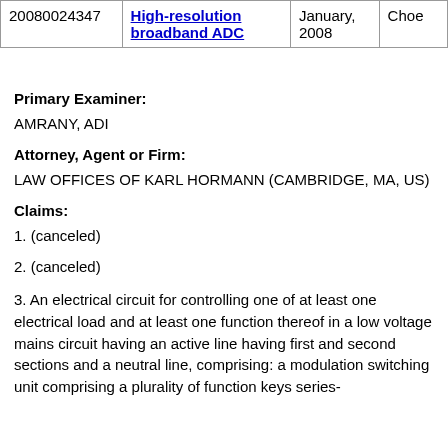|  |  |  |  |
| --- | --- | --- | --- |
| 20080024347 | High-resolution broadband ADC | January, 2008 | Choe |
Primary Examiner:
AMRANY, ADI
Attorney, Agent or Firm:
LAW OFFICES OF KARL HORMANN (CAMBRIDGE, MA, US)
Claims:
1. (canceled)
2. (canceled)
3. An electrical circuit for controlling one of at least one electrical load and at least one function thereof in a low voltage mains circuit having an active line having first and second sections and a neutral line, comprising: a modulation switching unit comprising a plurality of function keys series-